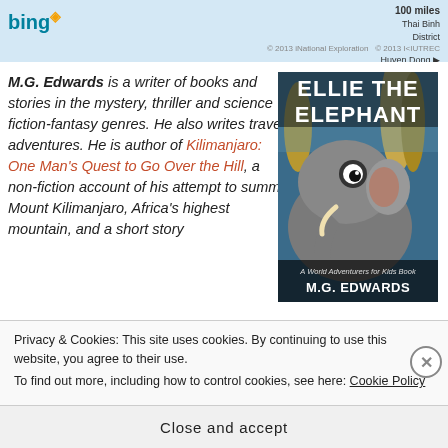[Figure (screenshot): Bing Maps screenshot showing a map area with '100 miles' scale, Thai Binh and District labels, and a Huyen Dong label. Bing logo visible top-left.]
M.G. Edwards is a writer of books and stories in the mystery, thriller and science fiction-fantasy genres. He also writes travel adventures. He is author of Kilimanjaro: One Man's Quest to Go Over the Hill, a non-fiction account of his attempt to summit Mount Kilimanjaro, Africa's highest mountain, and a short story
[Figure (illustration): Book cover for 'Ellie the Elephant' - A World Adventurers for Kids Book by M.G. Edwards. Shows an elephant in front of Thai temples. White bold text on dark background.]
Privacy & Cookies: This site uses cookies. By continuing to use this website, you agree to their use.
To find out more, including how to control cookies, see here: Cookie Policy
Close and accept